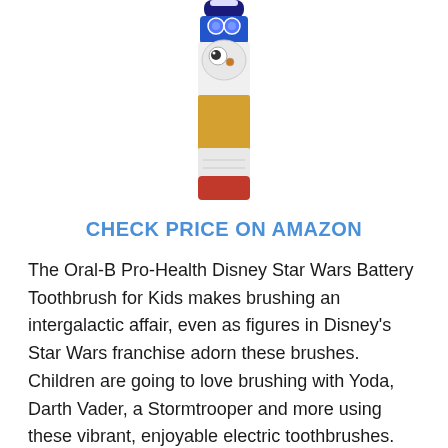[Figure (photo): Product photo of Oral-B Pro-Health Disney Star Wars Battery Toothbrush — a narrow vertical electric toothbrush with BB-8 character artwork on the handle, shown from the top down, cropped at top and bottom edges of the page.]
CHECK PRICE ON AMAZON
The Oral-B Pro-Health Disney Star Wars Battery Toothbrush for Kids makes brushing an intergalactic affair, even as figures in Disney's Star Wars franchise adorn these brushes. Children are going to love brushing with Yoda, Darth Vader, a Stormtrooper and more using these vibrant, enjoyable electric toothbrushes. The rotating brush head hits